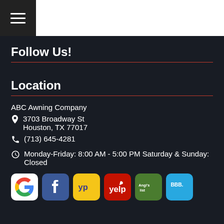[Figure (infographic): Hamburger menu button (three white lines on black background) in top-left header]
Follow Us!
Location
ABC Awning Company
3703 Broadway St Houston, TX 77017
(713) 645-4281
Monday-Friday: 8:00 AM - 5:00 PM Saturday & Sunday: Closed
[Figure (logo): Row of review/social media logos: Google, Facebook, YellowPages, Yelp, Angie's List, BBB]